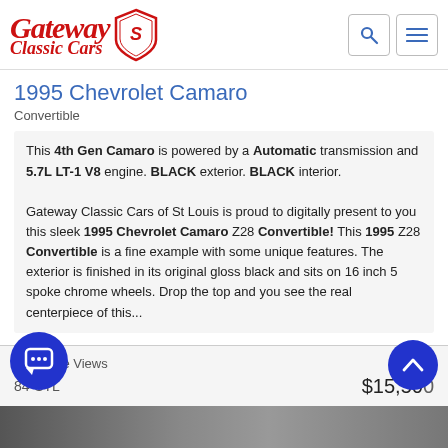[Figure (logo): Gateway Classic Cars logo with red script text and shield emblem]
1995 Chevrolet Camaro
Convertible
This 4th Gen Camaro is powered by a Automatic transmission and 5.7L LT-1 V8 engine. BLACK exterior. BLACK interior.

Gateway Classic Cars of St Louis is proud to digitally present to you this sleek 1995 Chevrolet Camaro Z28 Convertible! This 1995 Z28 Convertible is a fine example with some unique features. The exterior is finished in its original gloss black and sits on 16 inch 5 spoke chrome wheels. Drop the top and you see the real centerpiece of this...
126 Page Views
184-STL
$15,500